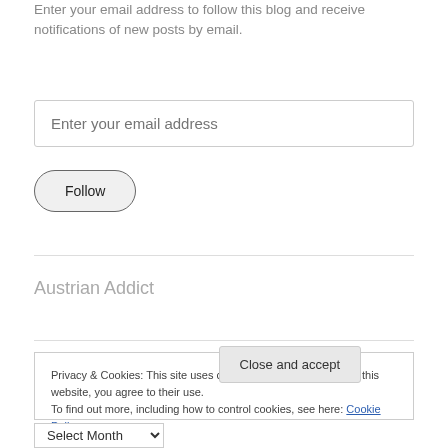Enter your email address to follow this blog and receive notifications of new posts by email.
Enter your email address
Follow
Austrian Addict
Privacy & Cookies: This site uses cookies. By continuing to use this website, you agree to their use.
To find out more, including how to control cookies, see here: Cookie Policy
Close and accept
Select Month